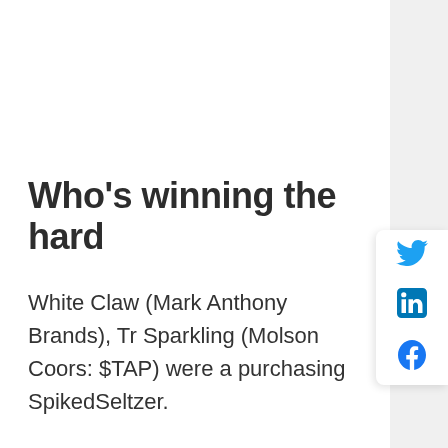Who's winning the hard
White Claw (Mark Anthony Brands), Tr... Sparkling (Molson Coors: $TAP) were a... purchasing SpikedSeltzer.
While White Claw is the early leader, here's... are performing in terms of consumer purch... and Henry's Hard are showing record numb... peak... further confirmation that this trend...